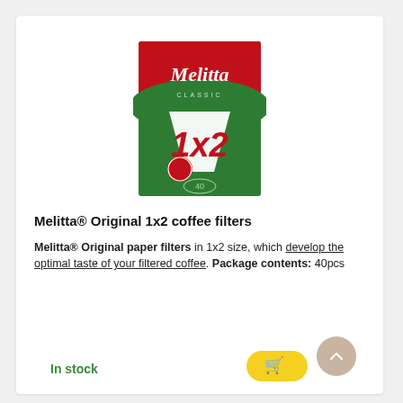[Figure (photo): Melitta Classic 1x2 coffee filter box — green and red packaging with white script logo and '1x2' text, 40 filters]
Melitta® Original 1x2 coffee filters
Melitta® Original paper filters in 1x2 size, which develop the optimal taste of your filtered coffee. Package contents: 40pcs
In stock